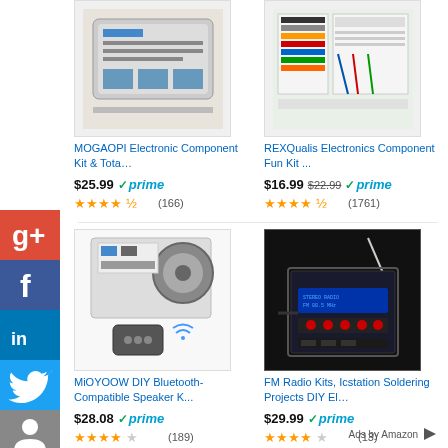[Figure (photo): MOGAOPI Electronic Component Kit in plastic case]
MOGAOPI Electronic Component Kit & Tota…
$25.99 prime ★★★★½ (166)
[Figure (photo): REXQualis Electronics Component Fun Kit with breadboard and components]
REXQualis Electronics Component Fun Kit ...
$16.99 $22.99 prime ★★★★½ (1761)
[Figure (photo): MiOYOOW DIY Bluetooth-Compatible Speaker Kit with remote control]
MiOYOOW DIY Bluetooth-Compatible Speaker K...
$28.08 prime ★★★★☆ (189)
[Figure (photo): FM Radio Kit by Icstation Soldering Projects DIY Electronics]
FM Radio Kits, Icstation Soldering Projects DIY El…
$29.99 prime ★★★★☆ (13)
Ads by Amazon